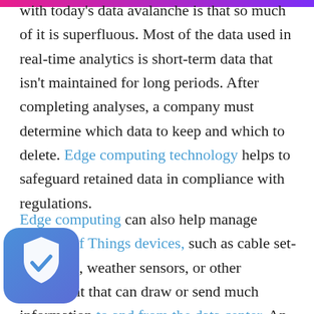with today's data avalanche is that so much of it is superfluous. Most of the data used in real-time analytics is short-term data that isn't maintained for long periods. After completing analyses, a company must determine which data to keep and which to delete. Edge computing technology helps to safeguard retained data in compliance with regulations.
Edge computing can also help manage Internet of Things devices, such as cable set-top boxes, weather sensors, or other equipment that can draw or send much information to and from the data center. An edge computing setup can be an intermediary to aggregate data or split a single data feed across multiple users.
[Figure (logo): Blue shield icon with white checkmark in bottom-left corner]